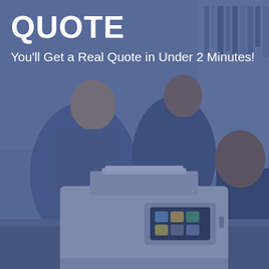[Figure (photo): Office scene with people working near a multifunction printer/copier. The image has a blue overlay tint. A printer with a color touchscreen panel is visible in the foreground, and people are visible in the background in an office/library setting.]
QUOTE
You'll Get a Real Quote in Under 2 Minutes!